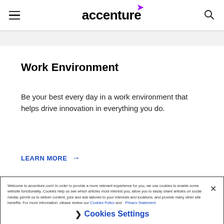[Figure (logo): Accenture logo with purple arrow accent above the 'c', flanked by hamburger menu icon on left and search icon on right]
Work Environment
Be your best every day in a work environment that helps drive innovation in everything you do.
LEARN MORE →
Welcome to accenture.com! In order to provide a more relevant experience for you, we use cookies to enable some website functionality. Cookies help us see which articles most interest you; allow you to easily share articles on social media; permit us to deliver content, jobs and ads tailored to your interests and locations; and provide many other site benefits. For more information, please review our Cookies Policy and Privacy Statement.
❯ Cookies Settings